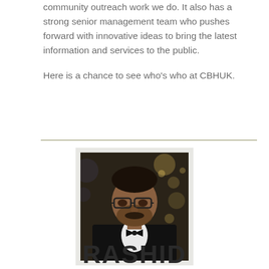community outreach work we do. It also has a strong senior management team who pushes forward with innovative ideas to bring the latest information and services to the public.

Here is a chance to see who's who at CBHUK.
[Figure (photo): Portrait photo of a man wearing glasses, a dark suit and bow tie, with bokeh lights in the background]
RASHID